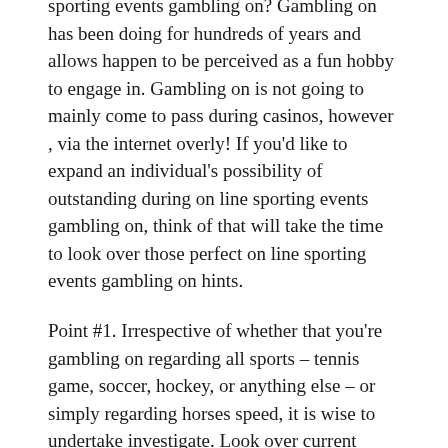sporting events gambling on? Gambling on has been doing for hundreds of years and allows happen to be perceived as a fun hobby to engage in. Gambling on is not going to mainly come to pass during casinos, however , via the internet overly! If you'd like to expand an individual's possibility of outstanding during on line sporting events gambling on, think of that will take the time to look over those perfect on line sporting events gambling on hints.
Point #1. Irrespective of whether that you're gambling on regarding all sports – tennis game, soccer, hockey, or anything else – or simply regarding horses speed, it is wise to undertake investigate. Look over current information information together with squad information earlier than gambling on regarding all squad or simply footballer. By just browsing sporting events